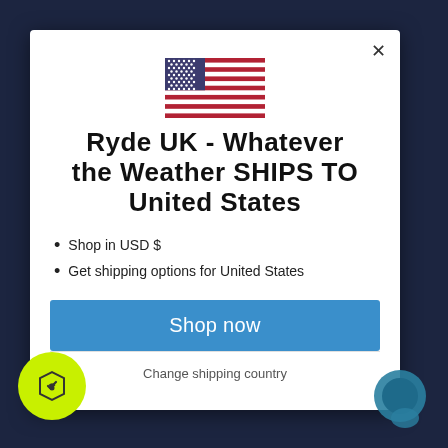[Figure (illustration): US flag SVG inline]
Ryde UK - Whatever the Weather SHIPS TO United States
Shop in USD $
Get shipping options for United States
Shop now
Change shipping country